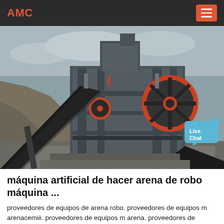AMC
[Figure (photo): Industrial stone crushing / sand-making machine at a quarry site with conveyor belt and large flywheel with red ring, surrounded by rock and concrete structures. A 'Live Chat' speech bubble overlay appears in the upper right.]
máquina artificial de hacer arena de robo máquina ...
proveedores de equipos de arena robo. proveedores de equipos m arenacemiii. proveedores de equipos m arena. proveedores de